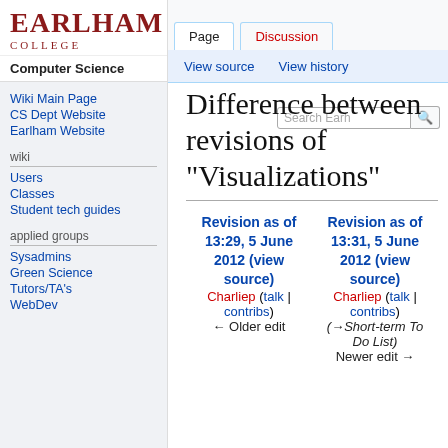Log in
[Figure (logo): Earlham College logo in red serif text with EARLHAM on top and COLLEGE below]
Computer Science
Page | Discussion | View source | View history
Search Earlham [search box]
Wiki Main Page
CS Dept Website
Earlham Website
wiki
Users
Classes
Student tech guides
applied groups
Sysadmins
Green Science
Tutors/TA's
WebDev
Difference between revisions of "Visualizations"
| Revision as of 13:29, 5 June 2012 (view source) | Revision as of 13:31, 5 June 2012 (view source) |
| --- | --- |
| Charliep (talk | contribs) | Charliep (talk | contribs) |
| ← Older edit | (→Short-term To Do List)
Newer edit → |